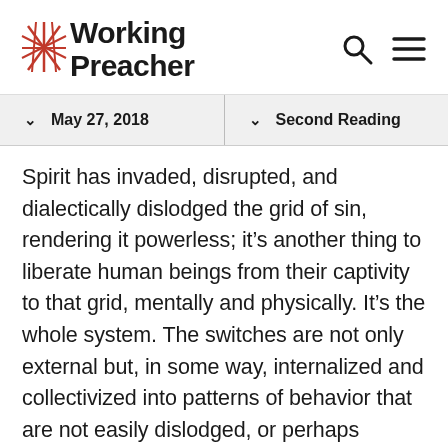Working Preacher
May 27, 2018 | Second Reading
Spirit has invaded, disrupted, and dialectically dislodged the grid of sin, rendering it powerless; it’s another thing to liberate human beings from their captivity to that grid, mentally and physically. It’s the whole system. The switches are not only external but, in some way, internalized and collectivized into patterns of behavior that are not easily dislodged, or perhaps impossible, under our own strength. We can know that we are free but, out of habit or entrenched patterns, we return to those switches which, while ultimately powerless, still drain us of the